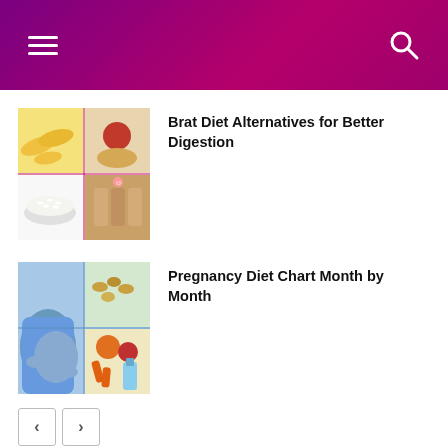Navigation header with menu and search icons
[Figure (photo): Collage of BRAT diet foods: bananas, apples, rice, toast]
Brat Diet Alternatives for Better Digestion
[Figure (photo): Pregnancy diet collage: pregnant woman's belly, nuts, fruits (orange, apple), carrots, cooking oil]
Pregnancy Diet Chart Month by Month
[Figure (photo): Essential oil bottles (dark amber glass) surrounded by lavender and wildflowers]
Best Essential Oil for Glowing Skin
< >  (pagination buttons)